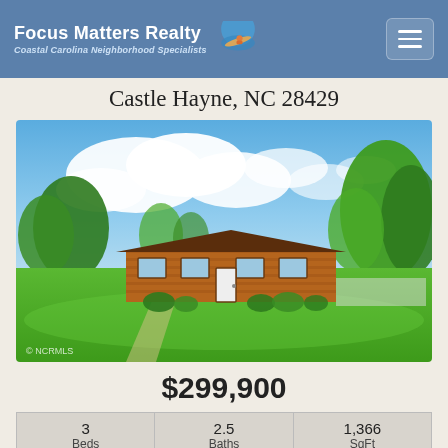Focus Matters Realty — Coastal Carolina Neighborhood Specialists
Castle Hayne, NC 28429
[Figure (photo): Exterior photo of a single-story brick ranch house with large green lawn, trees, and dramatic cloudy blue sky. Watermark reads '© NCRMLS' in lower left.]
$299,900
| Beds | Baths | SqFt |
| --- | --- | --- |
| 3 | 2.5 | 1,366 |